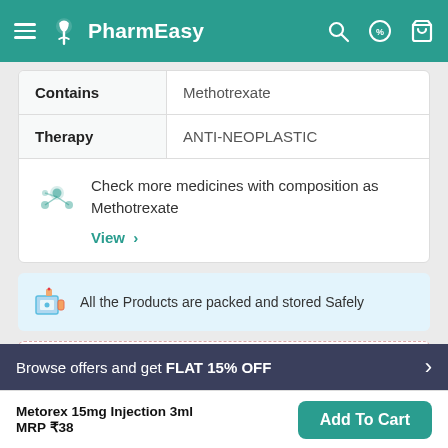PharmEasy
|  |  |
| --- | --- |
| Contains | Methotrexate |
| Therapy | ANTI-NEOPLASTIC |
Check more medicines with composition as Methotrexate
View >
All the Products are packed and stored Safely
Browse offers and get FLAT 15% OFF
Metorex 15mg Injection 3ml
MRP ₹38
Add To Cart